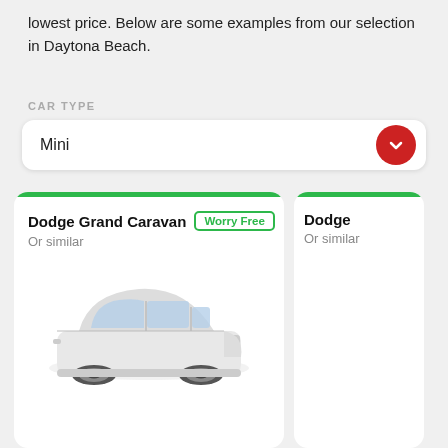lowest price. Below are some examples from our selection in Daytona Beach.
CAR TYPE
Mini
[Figure (screenshot): Car rental listing card showing Dodge Grand Caravan with Worry Free badge and car image, plus partial second card showing another Dodge]
Dodge Grand Caravan
Or similar
Dodge
Or similar